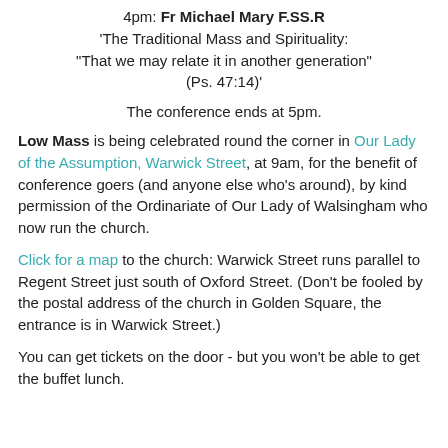4pm: Fr Michael Mary F.SS.R
'The Traditional Mass and Spirituality:
"That we may relate it in another generation"
(Ps. 47:14)'
The conference ends at 5pm.
Low Mass is being celebrated round the corner in Our Lady of the Assumption, Warwick Street, at 9am, for the benefit of conference goers (and anyone else who's around), by kind permission of the Ordinariate of Our Lady of Walsingham who now run the church.
Click for a map to the church: Warwick Street runs parallel to Regent Street just south of Oxford Street. (Don't be fooled by the postal address of the church in Golden Square, the entrance is in Warwick Street.)
You can get tickets on the door - but you won't be able to get the buffet lunch.